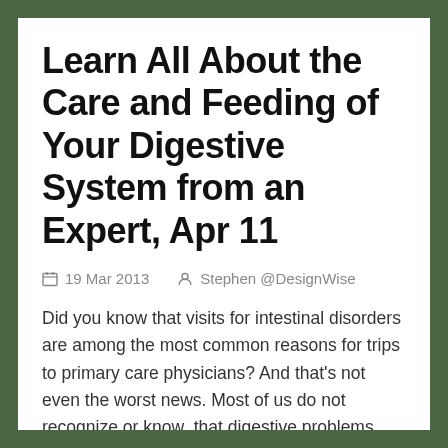Learn All About the Care and Feeding of Your Digestive System from an Expert, Apr 11
19 Mar 2013   Stephen @DesignWise
Did you know that visits for intestinal disorders are among the most common reasons for trips to primary care physicians? And that’s not even the worst news. Most of us do not recognize or know that digestive problems wreak havoc in the entire body, leading to: allergies, arthritis, autoimmune disease, rashes, acne, chronic fatigue, autism, dementia, mood disorders, cancer and more. On Thursday, …